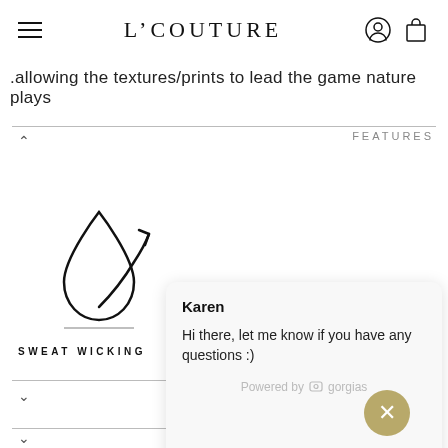L'COUTURE
.allowing the textures/prints to lead the game nature plays
FEATURES
[Figure (illustration): Sweat wicking icon: a water droplet with a curved upward arrow]
SWEAT WICKING
Karen
Hi there, let me know if you have any questions :)
Powered by gorgias
Click to reply
PRODUCT
العربية